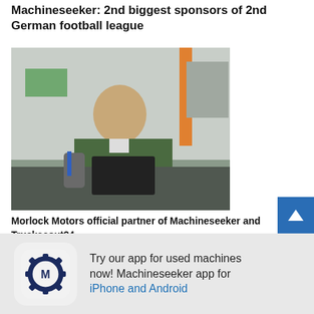Machineseeker: 2nd biggest sponsors of 2nd German football league
[Figure (photo): Man in green jacket sitting at a desk in a workshop/office with tools and equipment on the wall behind him, working at a computer.]
Morlock Motors official partner of Machineseeker and Truckscout24
[Figure (logo): Machineseeker app icon — gear with M logo on rounded square background]
Try our app for used machines now! Machineseeker app for iPhone and Android